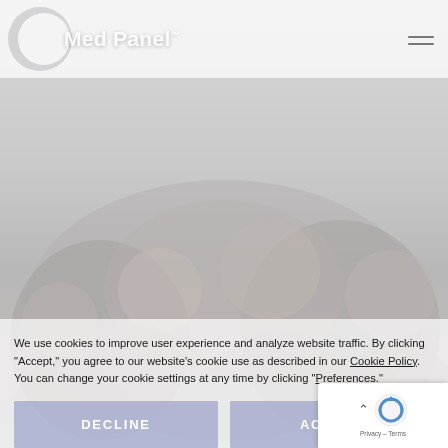[Figure (logo): MedPanel logo with crescent moon/circle icon in white/grey on the left, and hamburger menu icon on the right, inside a semi-transparent white header bar]
[Figure (photo): Faded/washed-out background photo of a group of people (medical professionals or panel members) in the lower half of the page]
We use cookies to improve user experience and analyze website traffic. By clicking "Accept," you agree to our website's cookie use as described in our Cookie Policy. You can change your cookie settings at any time by clicking "Preferences."
[Figure (other): DECLINE and ACCEPT buttons in muted blue-purple color at the bottom of the cookie consent banner]
[Figure (other): reCAPTCHA badge in the bottom-right corner showing the reCAPTCHA logo, a scroll-up arrow, and Privacy - Terms text]